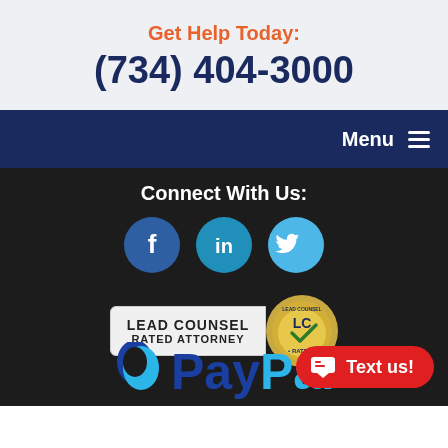Get Help Today:
(734) 404-3000
Menu ≡
Connect With Us:
[Figure (logo): Social media icons: Facebook (blue circle with f), LinkedIn (teal circle with in), Twitter (light blue circle with bird)]
[Figure (logo): Lead Counsel Rated Attorney badge with gold LC seal]
[Figure (logo): PayPal logo partially visible at bottom]
Text us!